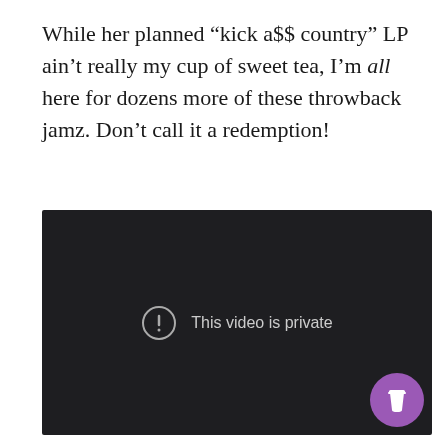While her planned “kick a$$ country” LP ain’t really my cup of sweet tea, I’m all here for dozens more of these throwback jamz. Don’t call it a redemption!
[Figure (screenshot): Embedded video player showing a dark background with a circular exclamation icon and the text 'This video is private'. A purple coffee cup button appears in the bottom-right corner.]